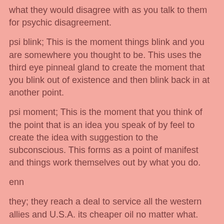what they would disagree with as you talk to them for psychic disagreement.
psi blink; This is the moment things blink and you are somewhere you thought to be. This uses the third eye pinneal gland to create the moment that you blink out of existence and then blink back in at another point.
psi moment; This is the moment that you think of the point that is an idea you speak of by feel to create the idea with suggestion to the subconscious. This forms as a point of manifest and things work themselves out by what you do.
enn
they; they reach a deal to service all the western allies and U.S.A. its cheaper oil no matter what.
paul; he pays me 40 extra no matter the point.
chris b; He doesn't mind what I do and doesn't try to avoid me.
instance; think the instance and what you experience is